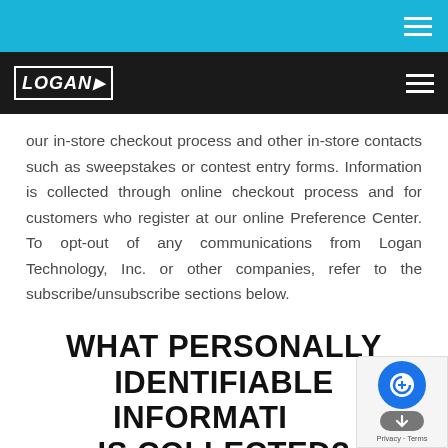Logan Technology navigation header with cyan top bar and dark nav bar with logo
our in-store checkout process and other in-store contacts such as sweepstakes or contest entry forms. Information is collected through online checkout process and for customers who register at our online Preference Center. To opt-out of any communications from Logan Technology, Inc. or other companies, refer to the subscribe/unsubscribe sections below.
WHAT PERSONALLY IDENTIFIABLE INFORMATION IS COLLECTED?